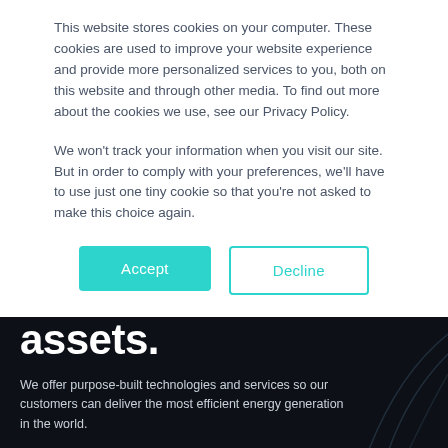This website stores cookies on your computer. These cookies are used to improve your website experience and provide more personalized services to you, both on this website and through other media. To find out more about the cookies we use, see our Privacy Policy.
We won't track your information when you visit our site. But in order to comply with your preferences, we'll have to use just one tiny cookie so that you're not asked to make this choice again.
Accept
Decline
assets.
We offer purpose-built technologies and services so our customers can deliver the most efficient energy generation in the world.
Get Started